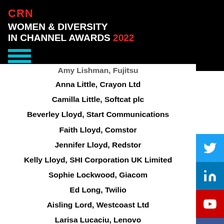CRN WOMEN & DIVERSITY IN CHANNEL AWARDS 2022
Amy Lishman, Fujitsu
Anna Little, Crayon Ltd
Camilla Little, Softcat plc
Beverley Lloyd, Start Communications
Faith Lloyd, Comstor
Jennifer Lloyd, Redstor
Kelly Lloyd, SHI Corporation UK Limited
Sophie Lockwood, Giacom
Ed Long, Twilio
Aisling Lord, Westcoast Ltd
Larisa Lucaciu, Lenovo